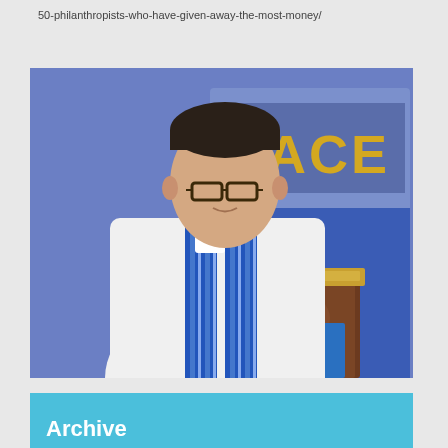50-philanthropists-who-have-given-away-the-most-money/
[Figure (photo): A man wearing glasses and a blue striped clergy stole over a white robe stands at an ornately carved wooden pulpit with a gold-colored stand. Behind him is a colorful banner with the word PEACE visible.]
Archive